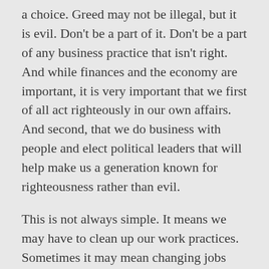a choice. Greed may not be illegal, but it is evil. Don't be a part of it. Don't be a part of any business practice that isn't right. And while finances and the economy are important, it is very important that we first of all act righteously in our own affairs. And second, that we do business with people and elect political leaders that will help make us a generation known for righteousness rather than evil.
This is not always simple. It means we may have to clean up our work practices. Sometimes it may mean changing jobs and/or the people that we do business with.
Remember, just because it is currently acceptable in our culture doesn't make it righteous.
But, if we are truly believers, then the question that